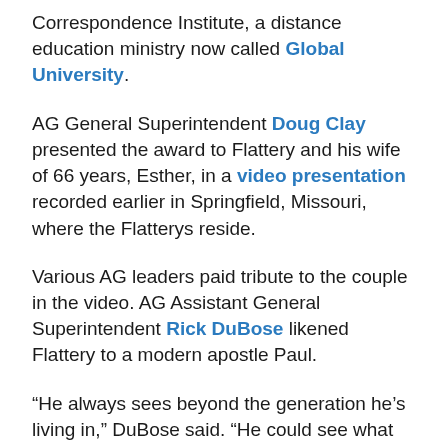Correspondence Institute, a distance education ministry now called Global University.
AG General Superintendent Doug Clay presented the award to Flattery and his wife of 66 years, Esther, in a video presentation recorded earlier in Springfield, Missouri, where the Flatterys reside.
Various AG leaders paid tribute to the couple in the video. AG Assistant General Superintendent Rick DuBose likened Flattery to a modern apostle Paul.
“He always sees beyond the generation he’s living in,” DuBose said. “He could see what was coming before it got there.”
In 1997, the then-61-year-old Flattery sensed